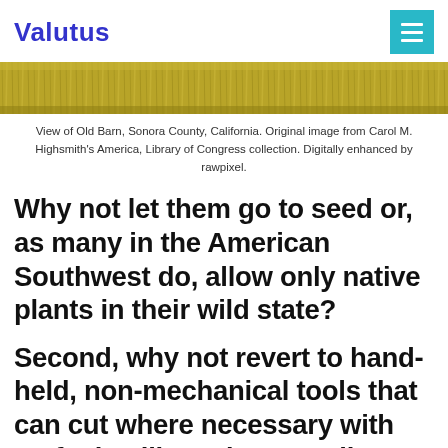Valutus
[Figure (photo): View of golden wheat/grass field, Old Barn, Sonora County, California. Cropped horizontal strip showing golden dry grass texture.]
View of Old Barn, Sonora County, California. Original image from Carol M. Highsmith's America, Library of Congress collection. Digitally enhanced by rawpixel.
Why not let them go to seed or, as many in the American Southwest do, allow only native plants in their wild state?
Second, why not revert to hand-held, non-mechanical tools that can cut where necessary with no fuel spills and an excellent workout in the bargain? Even a push-mower needs no fuel and — as I recall all